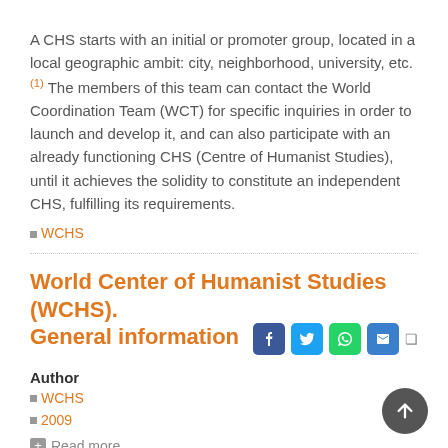A CHS starts with an initial or promoter group, located in a local geographic ambit: city, neighborhood, university, etc.(1) The members of this team can contact the World Coordination Team (WCT) for specific inquiries in order to launch and develop it, and can also participate with an already functioning CHS (Centre of Humanist Studies), until it achieves the solidity to constitute an independent CHS, fulfilling its requirements.
WCHS
World Center of Humanist Studies (WCHS). General information
Author
WCHS
2009
Read more
August 31st, 2009